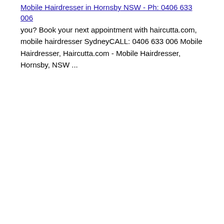Mobile Hairdresser in Hornsby NSW - Ph: 0406 633 006
you? Book your next appointment with haircutta.com, mobile hairdresser SydneyCALL: 0406 633 006 Mobile Hairdresser, Haircutta.com - Mobile Hairdresser, Hornsby, NSW ...